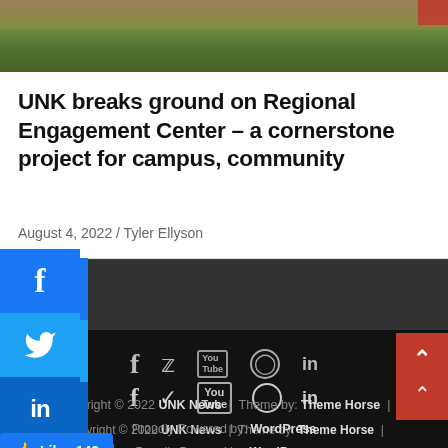[Figure (photo): Outdoor photo showing grass field and dirt ground, partial view of a groundbreaking event]
UNK breaks ground on Regional Engagement Center – a cornerstone project for campus, community
August 4, 2022 / Tyler Ellyson
[Figure (infographic): Social media sharing buttons: Facebook, Twitter, LinkedIn, and a Like 142 button]
Copyright © 2022 UNK News | Theme by: Theme Horse | Proudly Powered by: WordPress